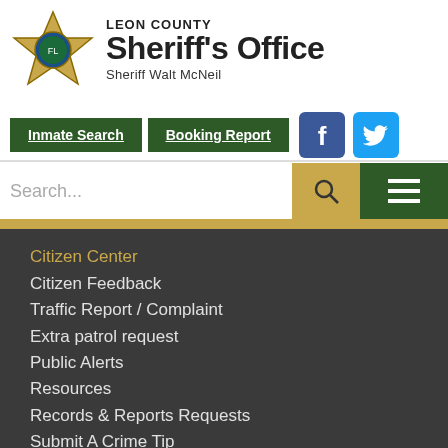[Figure (logo): Leon County Sheriff's Office star badge logo with blue circle center]
LEON COUNTY Sheriff's Office Sheriff Walt McNeil
Inmate Search
Booking Report
[Figure (logo): Facebook social media icon, blue square with white F]
[Figure (logo): Twitter social media icon, light blue square with white bird]
Search...
Citizen Center
Citizen Feedback
Traffic Report / Complaint
Extra patrol request
Public Alerts
Resources
Records & Reports Requests
Submit A Crime Tip